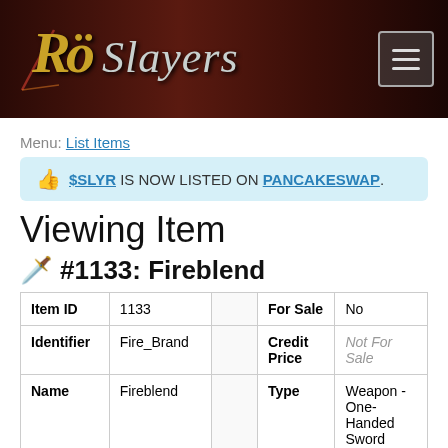[Figure (logo): RöSlayers logo on dark red/brown background with hamburger menu button]
Menu: List Items
👍 $SLYR IS NOW LISTED ON PANCAKESWAP.
Viewing Item
🗡️ #1133: Fireblend
| Item ID | 1133 |  | For Sale | No |
| --- | --- | --- | --- | --- |
| Identifier | Fire_Brand |  | Credit Price | Not For Sale |
| Name | Fireblend |  | Type | Weapon - One-Handed Sword |